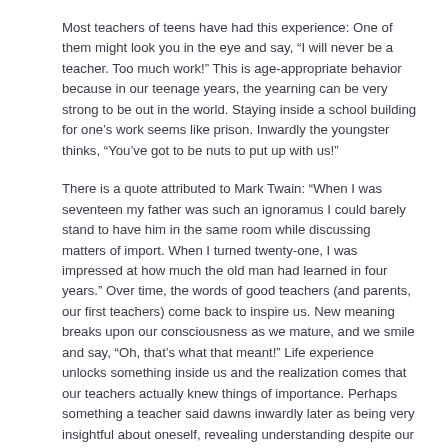Most teachers of teens have had this experience: One of them might look you in the eye and say, “I will never be a teacher. Too much work!” This is age-appropriate behavior because in our teenage years, the yearning can be very strong to be out in the world. Staying inside a school building for one’s work seems like prison. Inwardly the youngster thinks, “You’ve got to be nuts to put up with us!”
There is a quote attributed to Mark Twain: "When I was seventeen my father was such an ignoramus I could barely stand to have him in the same room while discussing matters of import. When I turned twenty-one, I was impressed at how much the old man had learned in four years." Over time, the words of good teachers (and parents, our first teachers) come back to inspire us. New meaning breaks upon our consciousness as we mature, and we smile and say, “Oh, that’s what that meant!” Life experience unlocks something inside us and the realization comes that our teachers actually knew things of importance. Perhaps something a teacher said dawns inwardly later as being very insightful about oneself, revealing understanding despite our teenage desire to hide our deepest selves.